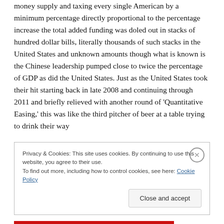money supply and taxing every single American by a minimum percentage directly proportional to the percentage increase the total added funding was doled out in stacks of hundred dollar bills, literally thousands of such stacks in the United States and unknown amounts though what is known is the Chinese leadership pumped close to twice the percentage of GDP as did the United States. Just as the United States took their hit starting back in late 2008 and continuing through 2011 and briefly relieved with another round of 'Quantitative Easing,' this was like the third pitcher of beer at a table trying to drink their way
Privacy & Cookies: This site uses cookies. By continuing to use this website, you agree to their use.
To find out more, including how to control cookies, see here: Cookie Policy